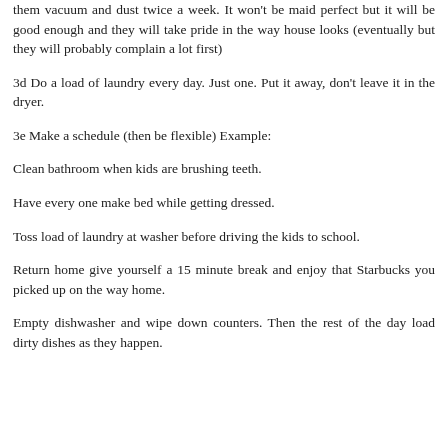them vacuum and dust twice a week. It won't be maid perfect but it will be good enough and they will take pride in the way house looks (eventually but they will probably complain a lot first)
3d Do a load of laundry every day. Just one. Put it away, don't leave it in the dryer.
3e Make a schedule (then be flexible) Example:
Clean bathroom when kids are brushing teeth.
Have every one make bed while getting dressed.
Toss load of laundry at washer before driving the kids to school.
Return home give yourself a 15 minute break and enjoy that Starbucks you picked up on the way home.
Empty dishwasher and wipe down counters. Then the rest of the day load dirty dishes as they happen.